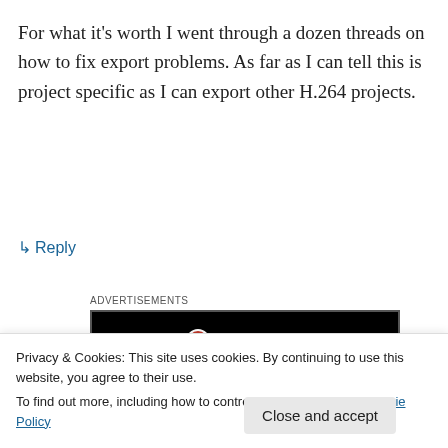For what it's worth I went through a dozen threads on how to fix export problems. As far as I can tell this is project specific as I can export other H.264 projects.
↳ Reply
Advertisements
[Figure (other): Longreads advertisement with black background. Logo circle with 'L', brand name LONGREADS, tagline 'Read anything great lately?']
REPORT THIS AD
Privacy & Cookies: This site uses cookies. By continuing to use this website, you agree to their use.
To find out more, including how to control cookies, see here: Cookie Policy